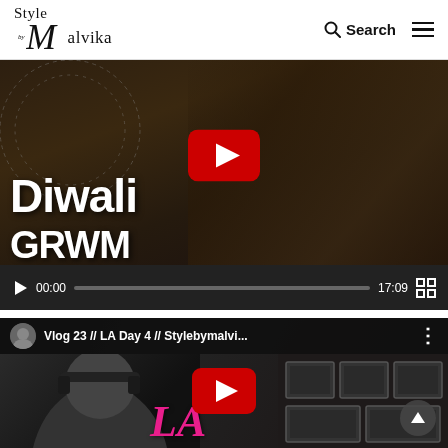Style by Malvika — Search — hamburger menu
[Figure (screenshot): Embedded YouTube video player showing a Diwali GRWM video. Thumbnail shows a woman in gold attire adjusting earrings with 'Diwali GRWM' text overlay. YouTube red play button centered. Video controls show 00:00 / 17:09.]
[Figure (screenshot): Second embedded YouTube video showing 'Vlog 23 // LA Day 4 // Stylebymalvi...' with channel avatar, more options button, black and white person with headphones thumbnail, framed pictures on wall, pink cursive 'LA' text overlay, and YouTube red play button.]